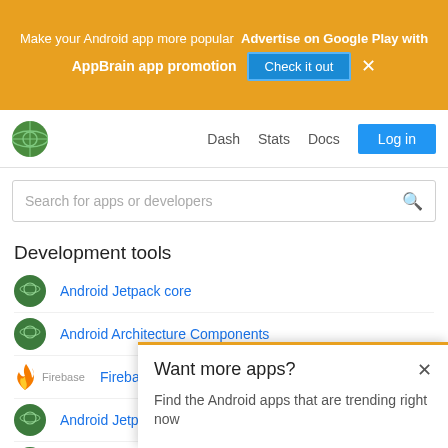Make your Android app more popular  Advertise on Google Play with AppBrain app promotion  Check it out  ×
[Figure (logo): AppBrain globe logo]
Dash  Stats  Docs  Log in
Search for apps or developers
Development tools
Android Jetpack core
Android Architecture Components
Firebase
Android Jetpack VersionedParcelable
Android Jetpack Annotations
Androi...
Googl...
Androi...
Want more apps?
Find the Android apps that are trending right now